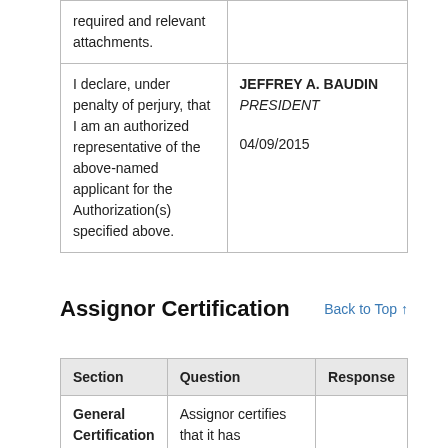| Question | Response |
| --- | --- |
| required and relevant attachments. |  |
| I declare, under penalty of perjury, that I am an authorized representative of the above-named applicant for the Authorization(s) specified above. | JEFFREY A. BAUDIN
PRESIDENT
04/09/2015 |
Assignor Certification
Back to Top ↑
| Section | Question | Response |
| --- | --- | --- |
| General Certification | Assignor certifies that it has |  |